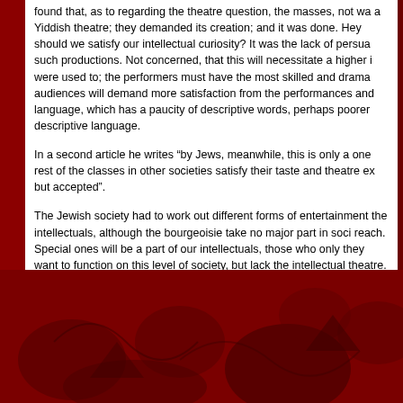found that, as to regarding the theatre question, the masses, not wa a Yiddish theatre; they demanded its creation; and it was done. Hey should we satisfy our intellectual curiosity? It was the lack of persua such productions. Not concerned, that this will necessitate a higher i were used to; the performers must have the most skilled and drama audiences will demand more satisfaction from the performances and language, which has a paucity of descriptive words, perhaps poorer descriptive language.
In a second article he writes "by Jews, meanwhile, this is only a one rest of the classes in other societies satisfy their taste and theatre ex but accepted".
The Jewish society had to work out different forms of entertainment the intellectuals, although the bourgeoisie take no major part in soci reach. Special ones will be a part of our intellectuals, those who only they want to function on this level of society, but lack the intellectual theatre.